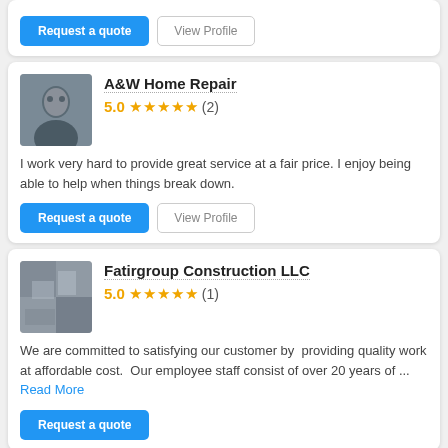[Figure (screenshot): Partial top card with Request a quote and View Profile buttons]
A&W Home Repair
5.0 ★★★★★ (2)
I work very hard to provide great service at a fair price. I enjoy being able to help when things break down.
Request a quote  View Profile
Fatirgroup Construction LLC
5.0 ★★★★★ (1)
We are committed to satisfying our customer by providing quality work at affordable cost. Our employee staff consist of over 20 years of ... Read More
Request a quote